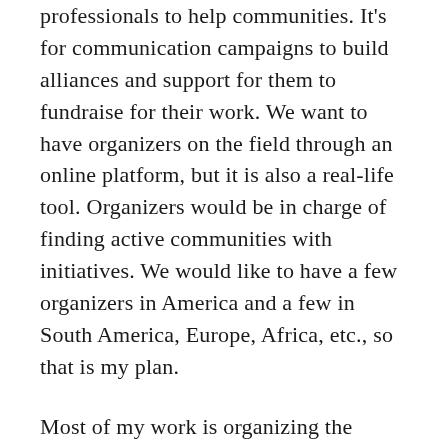professionals to help communities. It's for communication campaigns to build alliances and support for them to fundraise for their work. We want to have organizers on the field through an online platform, but it is also a real-life tool. Organizers would be in charge of finding active communities with initiatives. We would like to have a few organizers in America and a few in South America, Europe, Africa, etc., so that is my plan.
Most of my work is organizing the events for the Summer impact project campaign called No More Sacrificed Communities. We use the film as an organizing tool to fundraise for faculty community stars. So at least...